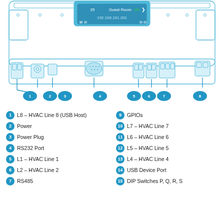[Figure (engineering-diagram): Technical diagram of HVAC controller hardware showing bottom/rear view with numbered callouts pointing to various ports and connectors: USB Host port, Power, Power Plug, RS232 Port, HVAC Lines 1-2, RS485, and more. Display shows 'Guest Room ON 192.168.181.201'. Numbers 1-8 visible in blue oval badges with lines pointing to respective components.]
1 L8 – HVAC Line 8 (USB Host)
9 GPIOs
2 Power
10 L7 – HVAC Line 7
3 Power Plug
11 L6 – HVAC Line 6
4 RS232 Port
12 L5 – HVAC Line 5
5 L1 – HVAC Line 1
13 L4 – HVAC Line 4
6 L2 – HVAC Line 2
14 USB Device Port
7 RS485
15 DIP Switches P, Q, R, S